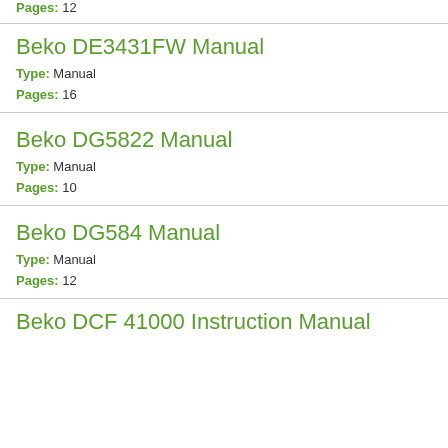Pages: 12
Beko DE3431FW Manual
Type: Manual
Pages: 16
Beko DG5822 Manual
Type: Manual
Pages: 10
Beko DG584 Manual
Type: Manual
Pages: 12
Beko DCF 41000 Instruction Manual